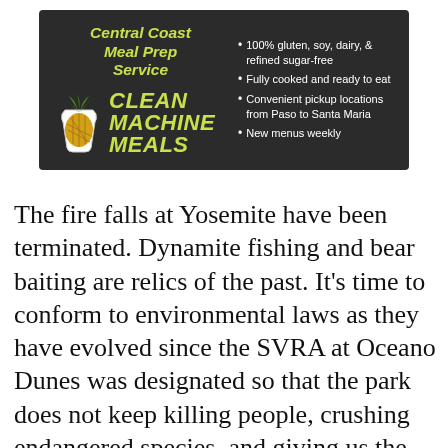[Figure (infographic): Advertisement for Clean Machine Meals - Central Coast Meal Prep Service. Dark background with yellow-green branding. Left side shows company name and pineapple logo. Right side lists bullet points: 100% gluten, soy, dairy, & refined sugar-free; Fully cooked and ready to eat; Convenient pickup locations from Paso to Santa Maria; New menus weekly.]
The fire falls at Yosemite have been terminated. Dynamite fishing and bear baiting are relics of the past. It's time to conform to environmental laws as they have evolved since the SVRA at Oceano Dunes was designated so that the park does not keep killing people, crushing endangered species, and giving us the distinction of the worst air quality in the nation.